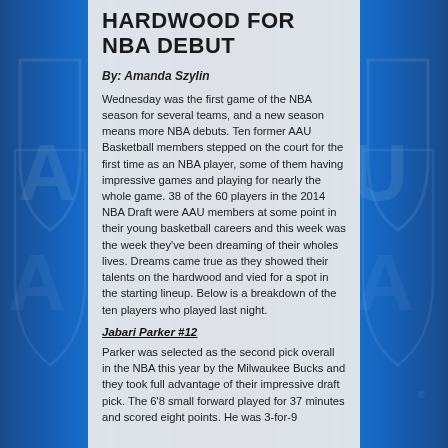HARDWOOD FOR NBA DEBUT
By: Amanda Szylin
Wednesday was the first game of the NBA season for several teams, and a new season means more NBA debuts. Ten former AAU Basketball members stepped on the court for the first time as an NBA player, some of them having impressive games and playing for nearly the whole game. 38 of the 60 players in the 2014 NBA Draft were AAU members at some point in their young basketball careers and this week was the week they've been dreaming of their wholes lives. Dreams came true as they showed their talents on the hardwood and vied for a spot in the starting lineup. Below is a breakdown of the ten players who played last night.
Jabari Parker #12
Parker was selected as the second pick overall in the NBA this year by the Milwaukee Bucks and they took full advantage of their impressive draft pick. The 6'8 small forward played for 37 minutes and scored eight points. He was 3-for-9